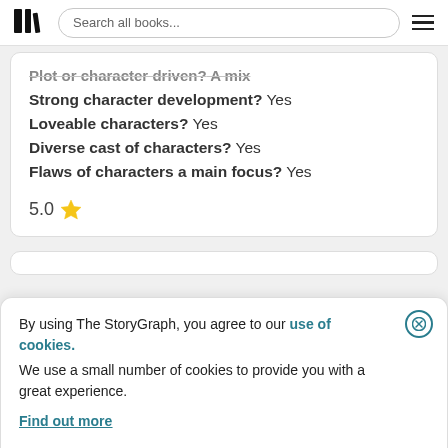Search all books...
Plot or character driven? A mix
Strong character development? Yes
Loveable characters? Yes
Diverse cast of characters? Yes
Flaws of characters a main focus? Yes
5.0 ★
By using The StoryGraph, you agree to our use of cookies.
We use a small number of cookies to provide you with a great experience.
Find out more